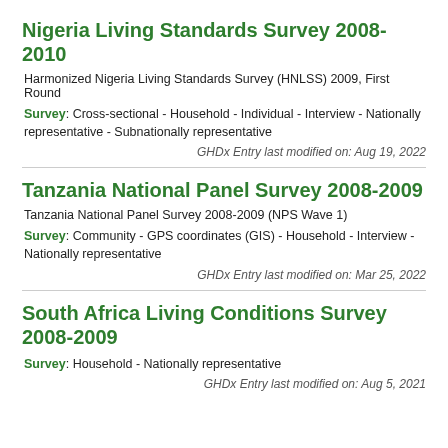Nigeria Living Standards Survey 2008-2010
Harmonized Nigeria Living Standards Survey (HNLSS) 2009, First Round
Survey: Cross-sectional - Household - Individual - Interview - Nationally representative - Subnationally representative
GHDx Entry last modified on: Aug 19, 2022
Tanzania National Panel Survey 2008-2009
Tanzania National Panel Survey 2008-2009 (NPS Wave 1)
Survey: Community - GPS coordinates (GIS) - Household - Interview - Nationally representative
GHDx Entry last modified on: Mar 25, 2022
South Africa Living Conditions Survey 2008-2009
Survey: Household - Nationally representative
GHDx Entry last modified on: Aug 5, 2021